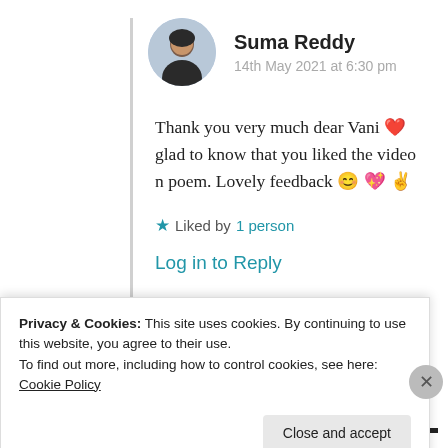[Figure (photo): Circular avatar photo of Suma Reddy]
Suma Reddy
14th May 2021 at 6:30 pm
Thank you very much dear Vani ❤️ glad to know that you liked the video n poem. Lovely feedback 😊 💖 ✌️
★ Liked by 1 person
Log in to Reply
Advertisements
Privacy & Cookies: This site uses cookies. By continuing to use this website, you agree to their use.
To find out more, including how to control cookies, see here: Cookie Policy
Close and accept